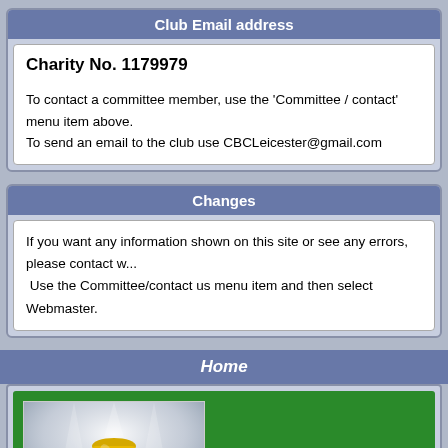Club Email address
Charity No. 1179979
To contact a committee member, use the 'Committee / contact' menu item above.
To send an email to the club use CBCLeicester@gmail.com
Changes
If you want any information shown on this site or see any errors, please contact w...
 Use the Committee/contact us menu item and then select Webmaster.
Home
[Figure (photo): A gold trophy cup on a red and white pedestal with spotlight lighting against a grey background, displayed on a green backdrop.]